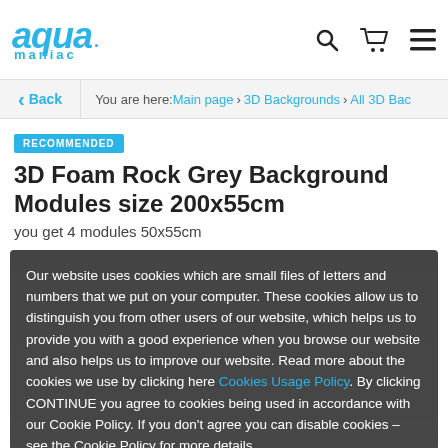[Figure (logo): Aqua Maniac logo in blue italic text with water drop]
aqua maniac — navigation header with search, cart, and menu icons
< Back   You are here: Main page > 3D Backgrounds > All 3D Bac
RECOMMENDED
3D Foam Rock Grey Background Modules size 200x55cm
you get 4 modules 50x55cm
Our website uses cookies which are small files of letters and numbers that we put on your computer. These cookies allow us to distinguish you from other users of our website, which helps us to provide you with a good experience when you browse our website and also helps us to improve our website. Read more about the cookies we use by clicking here Cookies Usage Policy. By clicking CONTINUE you agree to cookies being used in accordance with our Cookie Policy. If you don't agree you can disable cookies – see the Cookie Policy for more details.
Close